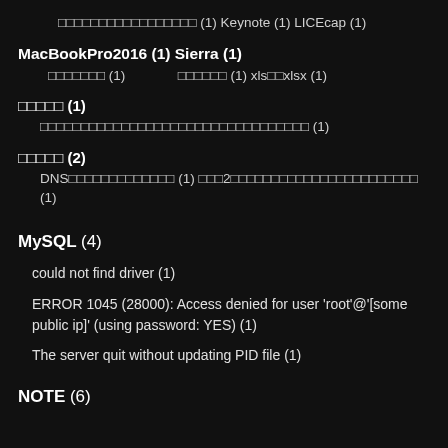□□□□□□□□□□□□□□□□□ (1) Keynote (1) LICEcap (1)
MacBookPro2016 (1) Sierra (1)
□□□□□□□ (1)   □□□□□□ (1) xls□□xlsx (1)
□□□□□ (1)
□□□□□□□□□□□□□□□□□□□□□□□□□□□□□□□□ (1)
□□□□□ (2)
DNS□□□□□□□□□□□□□ (1) □□□2□□□□□□□□□□□□□□□□□□□□□□□□ (1)
MySQL (4)
could not find driver (1)
ERROR 1045 (28000): Access denied for user 'root'@'[some public ip]' (using password: YES) (1)
The server quit without updating PID file (1)
NOTE (6)